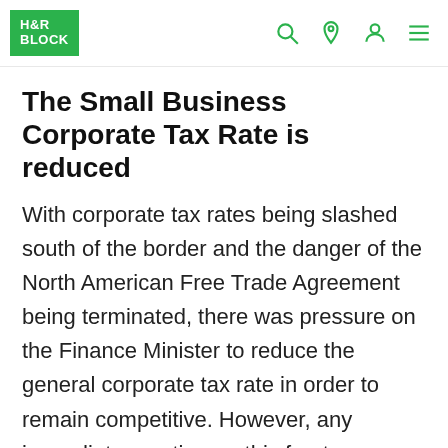H&R BLOCK
The Small Business Corporate Tax Rate is reduced
With corporate tax rates being slashed south of the border and the danger of the North American Free Trade Agreement being terminated, there was pressure on the Finance Minister to reduce the general corporate tax rate in order to remain competitive. However, any immediate reaction on this front